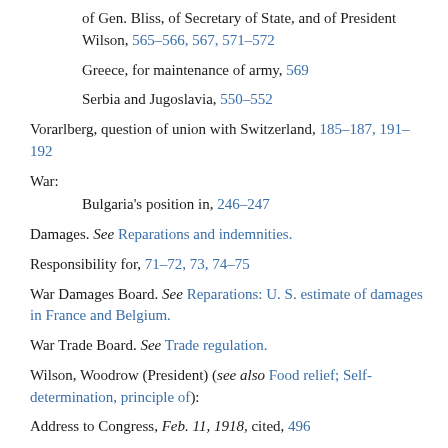of Gen. Bliss, of Secretary of State, and of President Wilson, 565–566, 567, 571–572
Greece, for maintenance of army, 569
Serbia and Jugoslavia, 550–552
Vorarlberg, question of union with Switzerland, 185–187, 191–192
War:
Bulgaria's position in, 246–247
Damages. See Reparations and indemnities.
Responsibility for, 71–72, 73, 74–75
War Damages Board. See Reparations: U. S. estimate of damages in France and Belgium.
War Trade Board. See Trade regulation.
Wilson, Woodrow (President) (see also Food relief; Self-determination, principle of):
Address to Congress, Feb. 11, 1918, cited, 496
Armenians, interest in, 272